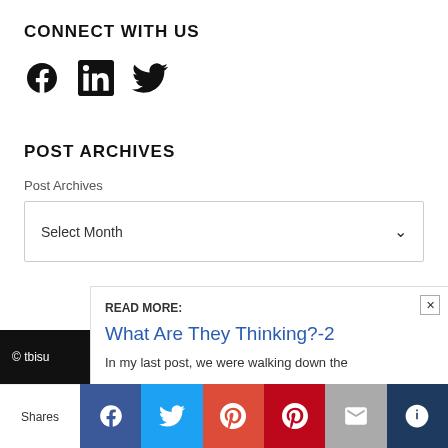CONNECT WITH US
[Figure (illustration): Social media icons: Facebook (f), LinkedIn (in), Twitter (bird)]
POST ARCHIVES
Post Archives
Select Month
© tbisu
READ MORE:
What Are They Thinking?-2
In my last post, we were walking down the
Shares